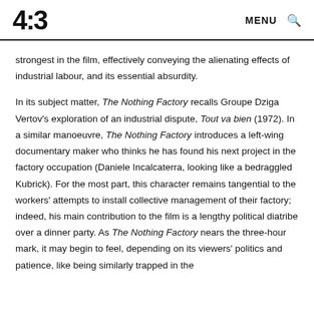4:3  MENU 🔍
strongest in the film, effectively conveying the alienating effects of industrial labour, and its essential absurdity.
In its subject matter, The Nothing Factory recalls Groupe Dziga Vertov's exploration of an industrial dispute, Tout va bien (1972). In a similar manoeuvre, The Nothing Factory introduces a left-wing documentary maker who thinks he has found his next project in the factory occupation (Daniele Incalcaterra, looking like a bedraggled Kubrick). For the most part, this character remains tangential to the workers' attempts to install collective management of their factory; indeed, his main contribution to the film is a lengthy political diatribe over a dinner party. As The Nothing Factory nears the three-hour mark, it may begin to feel, depending on its viewers' politics and patience, like being similarly trapped in the